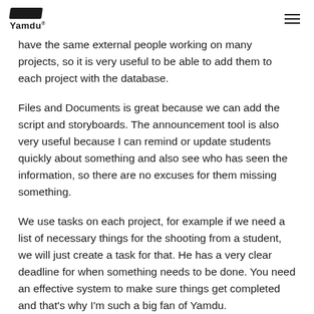Yamdu
have the same external people working on many projects, so it is very useful to be able to add them to each project with the database.
Files and Documents is great because we can add the script and storyboards. The announcement tool is also very useful because I can remind or update students quickly about something and also see who has seen the information, so there are no excuses for them missing something.
We use tasks on each project, for example if we need a list of necessary things for the shooting from a student, we will just create a task for that. He has a very clear deadline for when something needs to be done. You need an effective system to make sure things get completed and that's why I'm such a big fan of Yamdu.